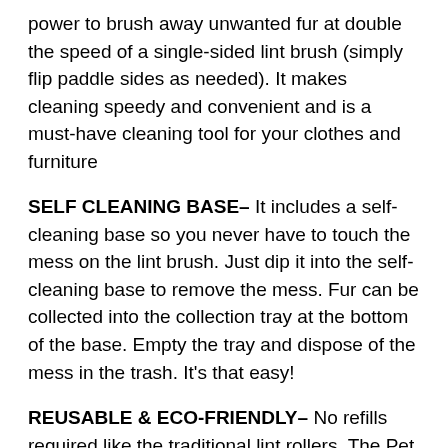power to brush away unwanted fur at double the speed of a single-sided lint brush (simply flip paddle sides as needed). It makes cleaning speedy and convenient and is a must-have cleaning tool for your clothes and furniture
SELF CLEANING BASE– It includes a self-cleaning base so you never have to touch the mess on the lint brush. Just dip it into the self-cleaning base to remove the mess. Fur can be collected into the collection tray at the bottom of the base. Empty the tray and dispose of the mess in the trash. It's that easy!
REUSABLE & ECO-FRIENDLY– No refills required like the traditional lint rollers. The Pet Brush Fur Remover is completely reusable and there are no sticky papers! Simply swipe it gently over the problem surface, and the fur will vanish. Save time and money by using our